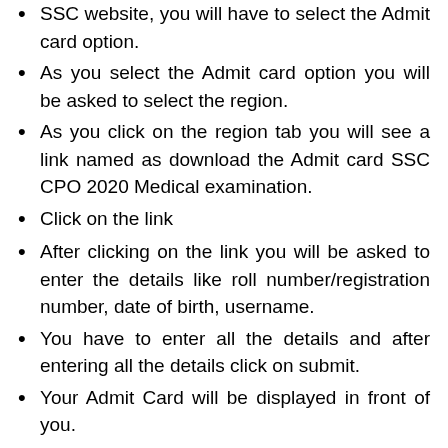SSC website, you will have to select the Admit card option.
As you select the Admit card option you will be asked to select the region.
As you click on the region tab you will see a link named as download the Admit card SSC CPO 2020 Medical examination.
Click on the link
After clicking on the link you will be asked to enter the details like roll number/registration number, date of birth, username.
You have to enter all the details and after entering all the details click on submit.
Your Admit Card will be displayed in front of you.
You can download your Admit card by